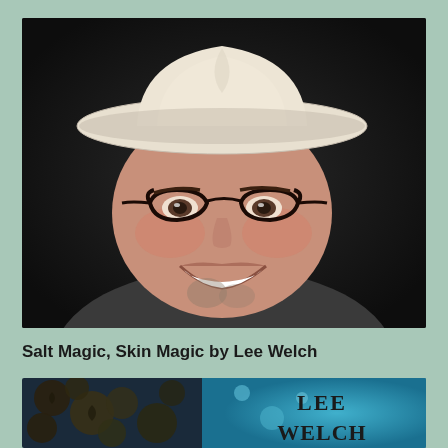[Figure (photo): Author photo: a smiling person wearing a white cowboy hat and black cat-eye glasses, with dark background]
Salt Magic, Skin Magic by Lee Welch
[Figure (photo): Book cover for Salt Magic, Skin Magic by Lee Welch, showing swirling ocean imagery with barnacles and teal water, with the author name LEE WELCH visible in large letters]